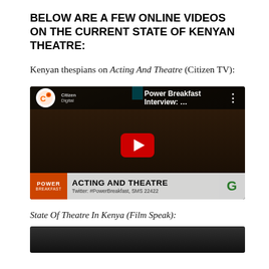BELOW ARE A FEW ONLINE VIDEOS ON THE CURRENT STATE OF KENYAN THEATRE:
Kenyan thespians on Acting And Theatre (Citizen TV):
[Figure (screenshot): YouTube video thumbnail showing a woman being interviewed on Citizen TV Power Breakfast program. Lower third reads 'ACTING AND THEATRE' with 'Twitter: #PowerBreakfast, SMS 22422'. Channel shown as Citizen Digital.]
State Of Theatre In Kenya (Film Speak):
[Figure (screenshot): Partial YouTube video thumbnail, bottom of page, dark background.]